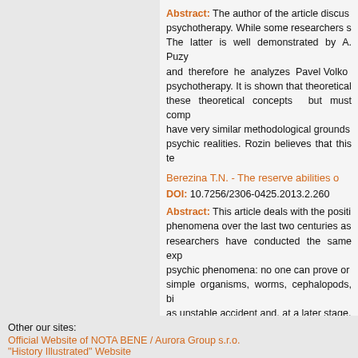Abstract: The author of the article discusses psychotherapy. While some researchers s... The latter is well demonstrated by A. Puzy... and therefore he analyzes Pavel Volko... psychotherapy. It is shown that theoretical these theoretical concepts but must comp... have very similar methodological grounds psychic realities. Rozin believes that this te...
Berezina T.N. - The reserve abilities o...
DOI: 10.7256/2306-0425.2013.2.260
Abstract: This article deals with the positi... phenomena over the last two centuries as researchers have conducted the same exp... psychic phenomena: no one can prove or simple organisms, worms, cephalopods, bi... as unstable accident and, at a later stage, future research in order to study the nat... understand the mechanisms of the functio...
Other our sites:
Official Website of NOTA BENE / Aurora Group s.r.o. "History Illustrated" Website